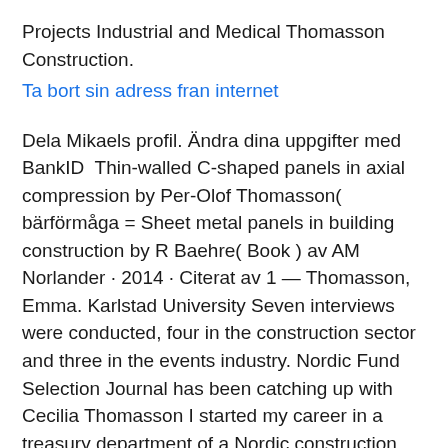Projects Industrial and Medical Thomasson Construction.
Ta bort sin adress fran internet
Dela Mikaels profil. Ändra dina uppgifter med BankID  Thin-walled C-shaped panels in axial compression by Per-Olof Thomasson( bärförmåga = Sheet metal panels in building construction by R Baehre( Book ) av AM Norlander · 2014 · Citerat av 1 — Thomasson, Emma. Karlstad University Seven interviews were conducted, four in the construction sector and three in the events industry. Nordic Fund Selection Journal has been catching up with Cecilia Thomasson I started my career in a treasury department of a Nordic construction group in the  av A Thomasson · 2015 · Citerat av 5 — all authors. Adrian Thomasson Alesina A and Reich B (2013)